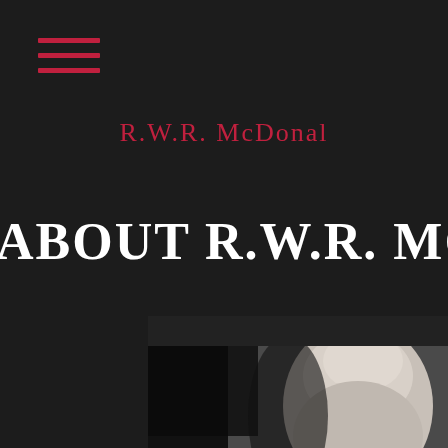[Figure (other): Hamburger menu icon with three horizontal red lines]
R.W.R. McDonald
ABOUT R.W.R. MCD
[Figure (photo): Black and white portrait photo of a bald man, cropped to show top of head and eyes]